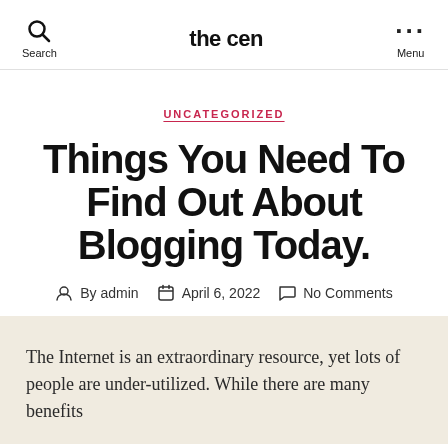the cen
UNCATEGORIZED
Things You Need To Find Out About Blogging Today.
By admin   April 6, 2022   No Comments
The Internet is an extraordinary resource, yet lots of people are under-utilized. While there are many benefits